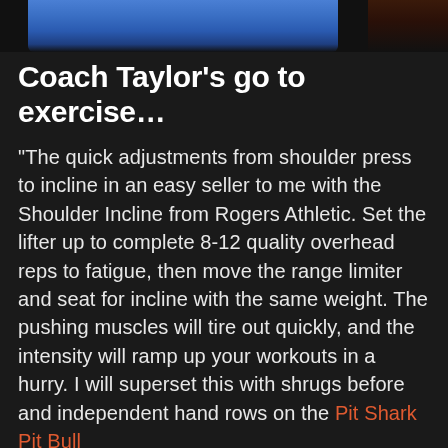[Figure (photo): Partial photo showing blue athletic clothing/jersey at top of page]
Coach Taylor's go to exercise…
“The quick adjustments from shoulder press to incline in an easy seller to me with the Shoulder Incline from Rogers Athletic. Set the lifter up to complete 8-12 quality overhead reps to fatigue, then move the range limiter and seat for incline with the same weight. The pushing muscles will tire out quickly, and the intensity will ramp up your workouts in a hurry. I will superset this with shrugs before and independent hand rows on the Pit Shark Pit Bull for an effective tri-combo shoulder